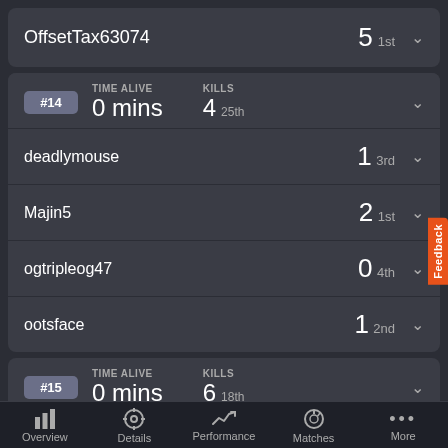OffsetTax63074  5 1st
| #14 | TIME ALIVE | KILLS |
| --- | --- | --- |
|  | 0 mins | 4 25th |
deadlymouse  1 3rd
Majin5  2 1st
ogtripleog47  0 4th
ootsface  1 2nd
| #15 | TIME ALIVE | KILLS |
| --- | --- | --- |
|  | 0 mins | 6 18th |
Overview  Details  Performance  Matches  More